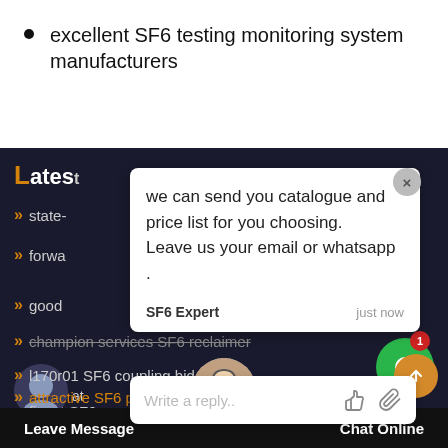excellent SF6 testing monitoring system manufacturers
[Figure (screenshot): Website dark background section with navigation links and chat popup overlay. Chat popup shows message: 'we can send you catalogue and price list for you choosing. Leave us your email or whatsapp .' from SF6 Expert just now. Below is a reply text box with 'Write a reply..' placeholder and like/attachment icons. Green chat bubble icon with notification badge '1'. Orange scroll-to-top button. Bottom bar with 'Leave Message' and 'Chat Online' buttons. Support agent avatar at bottom center.]